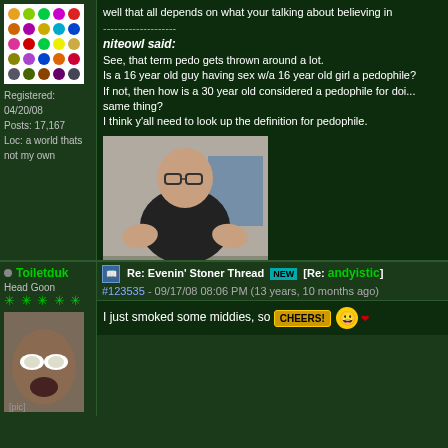well that all depends on what your talking about believing in
Registered: 04/20/08
Posts: 17,167
Loc: a world thats not my own
niteowl said:
See, that term pedo gets thrown around a lot.
Is a 16 year old guy having sex w/a 16 year old girl a pedophile?
If not, then how is a 30 year old considered a pedophile for doing the same thing?
I think y'all need to look up the definition for pedophile.
[Figure (photo): Photo of a bald man wearing glasses and a black tank top, with timestamp 05/19/2009]
Extras:
Toiletduk
Head Goon
Re: Evenin' Stoner Thread [NEW] [Re: andyistic]
#123535 - 09/17/08 08:06 PM (13 years, 10 months ago)
[Figure (photo): Avatar photo of a person]
I just smoked some middies, so [CHEERS!] 😀